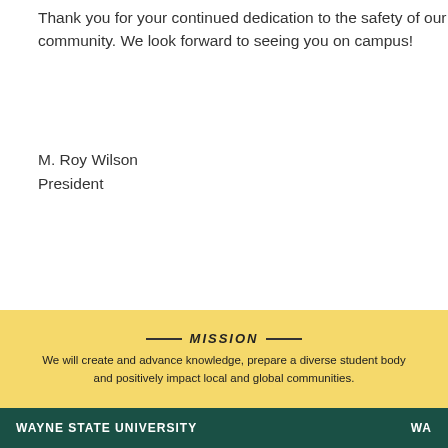Thank you for your continued dedication to the safety of our community. We look forward to seeing you on campus!
M. Roy Wilson
President
MISSION
We will create and advance knowledge, prepare a diverse student body and positively impact local and global communities.
WAYNE STATE UNIVERSITY    WA